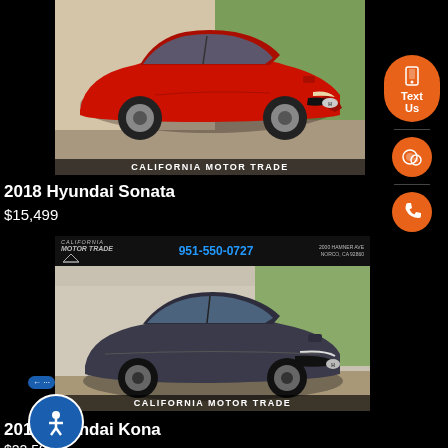[Figure (photo): Red 2018 Hyundai Sonata sedan on a light background with the California Motor Trade watermark at the bottom of the image]
2018 Hyundai Sonata
$15,499
[Figure (photo): California Motor Trade dealer banner with logo, phone number 951-550-0727, and address 2000 Hamner Ave, Norco, CA 92860, above a dark gray Hyundai Kona SUV photo with California Motor Trade watermark at the bottom]
2019 Hyundai Kona
$22,599
[Figure (infographic): Orange sidebar pill with phone/text icons showing Text Us, chat bubble icon, and phone icon. Also accessibility button at bottom left.]